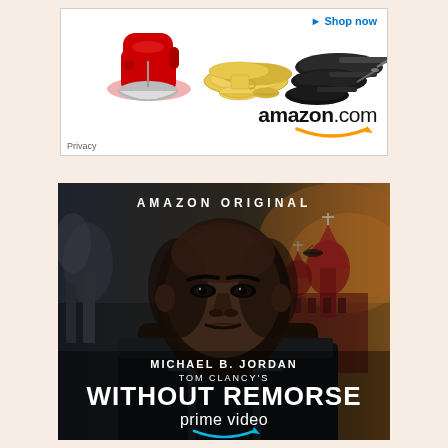[Figure (illustration): Amazon.com advertisement banner showing kitchen products: a red KitchenAid stand mixer, yellow dinnerware set, and black non-stick pans, with Amazon.com logo and 'Shop now' link]
[Figure (photo): Amazon Prime Video advertisement for 'Tom Clancy's Without Remorse' starring Michael B. Jordan, showing actor's face against dark moody background with Russian-style architecture, text reads 'AMAZON ORIGINAL', 'MICHAEL B. JORDAN', 'TOM CLANCY'S', 'WITHOUT REMORSE', 'prime video']